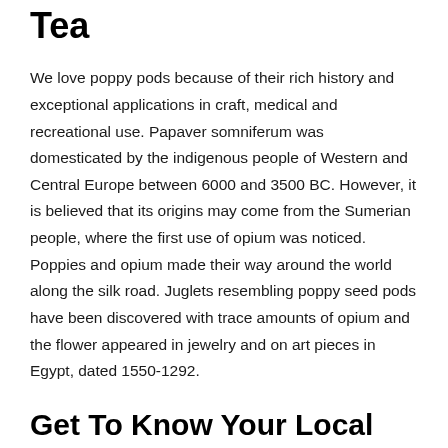Tea
We love poppy pods because of their rich history and exceptional applications in craft, medical and recreational use. Papaver somniferum was domesticated by the indigenous people of Western and Central Europe between 6000 and 3500 BC. However, it is believed that its origins may come from the Sumerian people, where the first use of opium was noticed. Poppies and opium made their way around the world along the silk road. Juglets resembling poppy seed pods have been discovered with trace amounts of opium and the flower appeared in jewelry and on art pieces in Egypt, dated 1550-1292.
Get To Know Your Local Community At The Coffee Shop